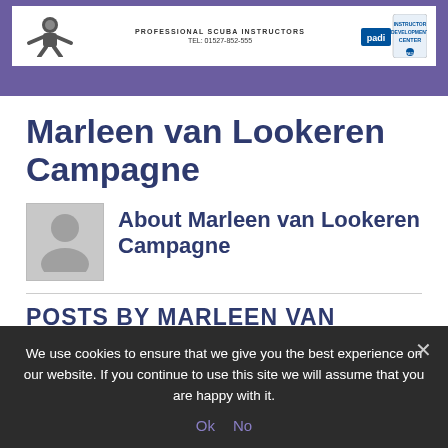[Figure (logo): Website header banner with scuba diving logo/diver silhouette on left, centered text 'PROFESSIONAL SCUBA INSTRUCTORS TEL: 01527-852-555', and PADI Instructor Development Center badge on right, all on white background within a purple banner.]
Marleen van Lookeren Campagne
[Figure (illustration): Grey placeholder avatar/person silhouette icon in a light grey square box]
About Marleen van Lookeren Campagne
POSTS BY MARLEEN VAN
We use cookies to ensure that we give you the best experience on our website. If you continue to use this site we will assume that you are happy with it.
Ok  No